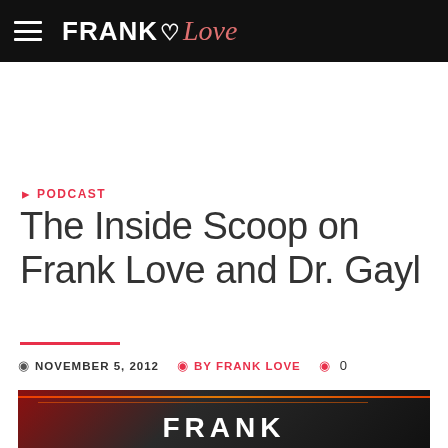FRANK Love
PODCAST
The Inside Scoop on Frank Love and Dr. Gayl
NOVEMBER 5, 2012   BY FRANK LOVE   0
[Figure (photo): Photo of a man in a studio setting with orange accent lighting and the word FRANK visible]